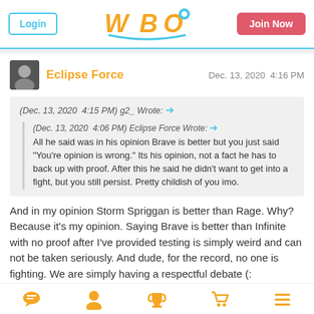Login | WBO | Join Now
Eclipse Force — Dec. 13, 2020  4:16 PM
(Dec. 13, 2020  4:15 PM) g2_ Wrote: → (Dec. 13, 2020  4:06 PM) Eclipse Force Wrote: → All he said was in his opinion Brave is better but you just said "You're opinion is wrong." Its his opinion, not a fact he has to back up with proof. After this he said he didn't want to get into a fight, but you still persist. Pretty childish of you imo.
And in my opinion Storm Spriggan is better than Rage. Why? Because it's my opinion. Saying Brave is better than Infinite with no proof after I've provided testing is simply weird and can not be taken seriously. And dude, for the record, no one is fighting. We are simply having a respectful debate (:
[chat] [profile] [trophy] [cart] [menu]